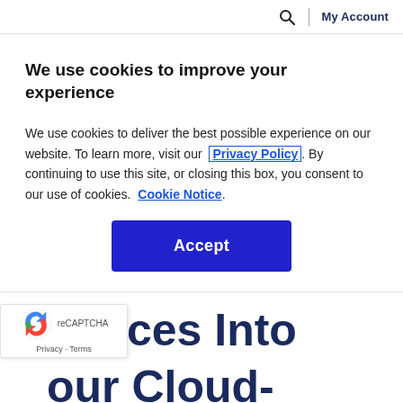🔍 | My Account
We use cookies to improve your experience
We use cookies to deliver the best possible experience on our website. To learn more, visit our Privacy Policy. By continuing to use this site, or closing this box, you consent to our use of cookies. Cookie Notice.
Accept
Services Into Your Cloud-